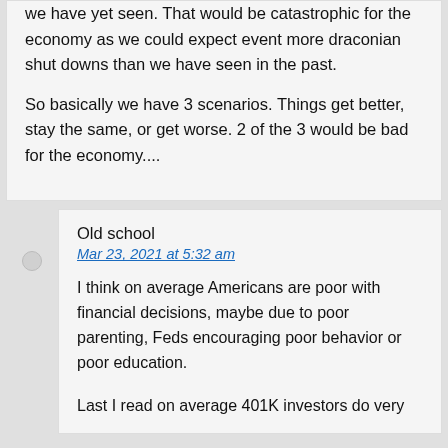we have yet seen. That would be catastrophic for the economy as we could expect event more draconian shut downs than we have seen in the past.
So basically we have 3 scenarios. Things get better, stay the same, or get worse. 2 of the 3 would be bad for the economy....
Old school
Mar 23, 2021 at 5:32 am
I think on average Americans are poor with financial decisions, maybe due to poor parenting, Feds encouraging poor behavior or poor education.
Last I read on average 401K investors do very